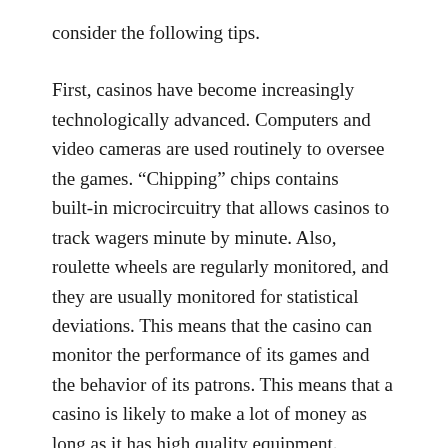consider the following tips.
First, casinos have become increasingly technologically advanced. Computers and video cameras are used routinely to oversee the games. “Chipping” chips contains built-in microcircuitry that allows casinos to track wagers minute by minute. Also, roulette wheels are regularly monitored, and they are usually monitored for statistical deviations. This means that the casino can monitor the performance of its games and the behavior of its patrons. This means that a casino is likely to make a lot of money as long as it has high quality equipment.